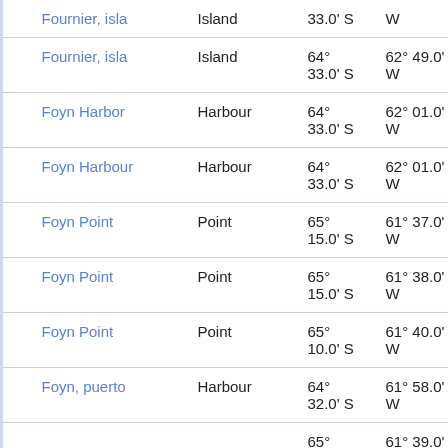|  | Name | Type | Lat | Lon | Ref |
| --- | --- | --- | --- | --- | --- |
|  | Fournier, isla | Island | 33.0' S | W | at |
|  | Fournier, isla | Island | 64° 33.0' S | 62° 49.0' W | 88 at |
|  | Foyn Harbor | Harbour | 64° 33.0' S | 62° 01.0' W | 79 at |
|  | Foyn Harbour | Harbour | 64° 33.0' S | 62° 01.0' W | 79 at |
|  | Foyn Point | Point | 65° 15.0' S | 61° 37.0' W | 17 at |
|  | Foyn Point | Point | 65° 15.0' S | 61° 38.0' W | 16 at |
|  | Foyn Point | Point | 65° 10.0' S | 61° 40.0' W | 18 at |
|  | Foyn, puerto | Harbour | 64° 32.0' S | 61° 58.0' W | 81 at |
|  |  |  | 65° | 61° 39.0' | 15 |